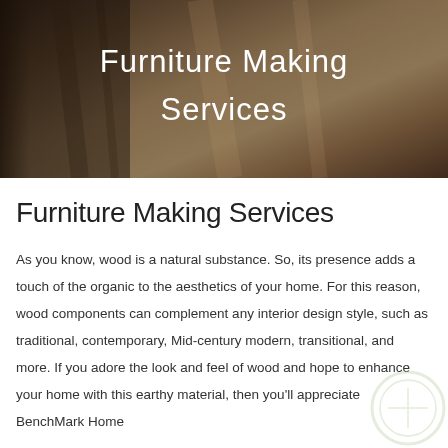[Figure (photo): Hero banner photograph showing a woodworking scene with a person using a drill on wooden boards. Overlaid with white text reading 'Furniture Making Services'.]
Furniture Making Services
As you know, wood is a natural substance. So, its presence adds a touch of the organic to the aesthetics of your home. For this reason, wood components can complement any interior design style, such as traditional, contemporary, Mid-century modern, transitional, and more. If you adore the look and feel of wood and hope to enhance your home with this earthy material, then you'll appreciate BenchMark Home